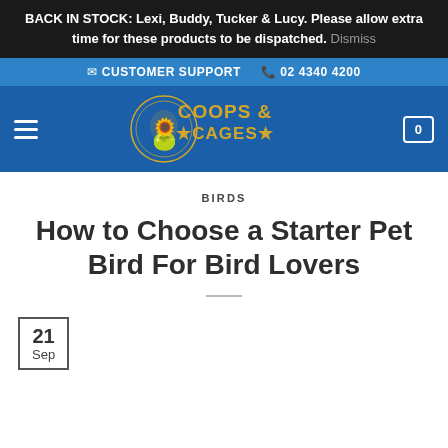BACK IN STOCK: Lexi, Buddy, Tucker & Lucy. Please allow extra time for these products to be dispatched. Dismiss
CUSTOMER SUPPORT  02 4340 4200
[Figure (logo): Coops & Cages logo with rooster and rabbit inside a circular golden emblem on blue navigation bar with hamburger menu and cart icon showing 0]
BIRDS
How to Choose a Starter Pet Bird For Bird Lovers
21 Sep